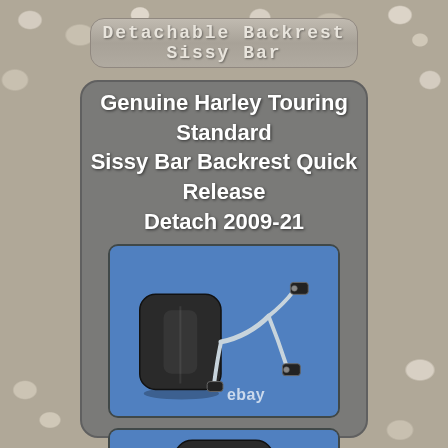Detachable Backrest Sissy Bar
Genuine Harley Touring Standard Sissy Bar Backrest Quick Release Detach 2009-21
[Figure (photo): Photo of a Genuine Harley Touring Standard Sissy Bar Backrest with chrome arms and black padded cushion on a blue background, with ebay watermark]
[Figure (photo): Partial photo showing top of the black backrest cushion on blue background (cropped)]